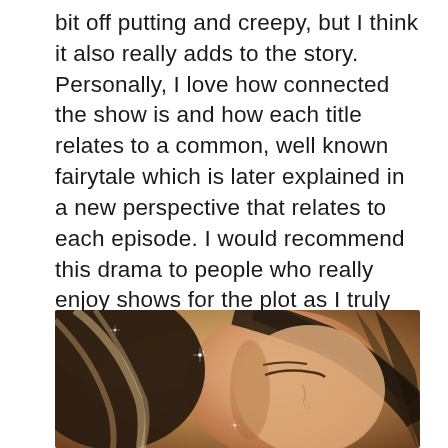bit off putting and creepy, but I think it also really adds to the story.  Personally, I love how connected the show is and how each title relates to a common, well known fairytale which is later explained in a new perspective that relates to each episode. I would recommend this drama to people who really enjoy shows for the plot as I truly think the storyline is really great. One slight problem I have with it is the representation as the many of the characters are in a mental hospital and some of the portrayals fall into stereotypes. There is also the problem of romanticizing mental illnesses.
[Figure (photo): Close-up photo of a young woman with dark hair streaked with lighter tones, eyes closed or looking down, with a warm/golden background and small sparkle light effects.]